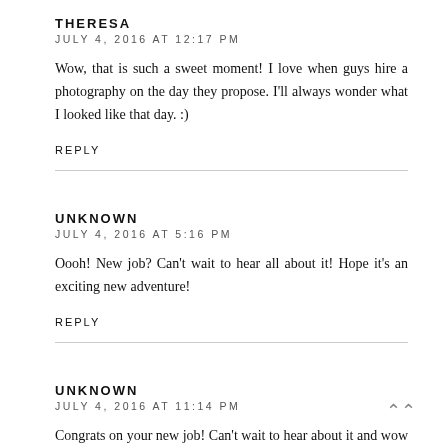THERESA
JULY 4, 2016 AT 12:17 PM
Wow, that is such a sweet moment! I love when guys hire a photography on the day they propose. I'll always wonder what I looked like that day. :)
REPLY
UNKNOWN
JULY 4, 2016 AT 5:16 PM
Oooh! New job? Can't wait to hear all about it! Hope it's an exciting new adventure!
REPLY
UNKNOWN
JULY 4, 2016 AT 11:14 PM
Congrats on your new job! Can't wait to hear about it and wow an